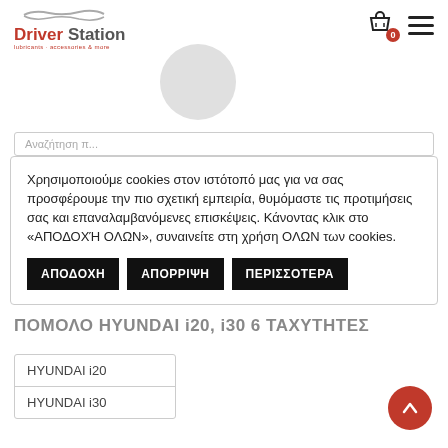[Figure (logo): Driver Station logo with car line graphic, red and grey text, subtext 'lubricants · accessories & more']
[Figure (other): Shopping cart icon with red badge showing '0', and hamburger menu icon]
[Figure (other): Grey circle profile avatar placeholder]
Αναζήτηση π...
Χρησιμοποιούμε cookies στον ιστότοπό μας για να σας προσφέρουμε την πιο σχετική εμπειρία, θυμόμαστε τις προτιμήσεις σας και επαναλαμβανόμενες επισκέψεις. Κάνοντας κλικ στο «ΑΠΟΔΟΧΉ ΟΛΩΝ», συναινείτε στη χρήση ΟΛΩΝ των cookies.
ΑΠΟΔΟΧΗ
ΑΠΟΡΡΙΨΗ
ΠΕΡΙΣΣΟΤΕΡΑ
ΠΟΜΟΛΟ HYUNDAI i20, i30 6 ΤΑΧΥΤΗΤΕΣ
| HYUNDAI i20 |
| HYUNDAI i30 |